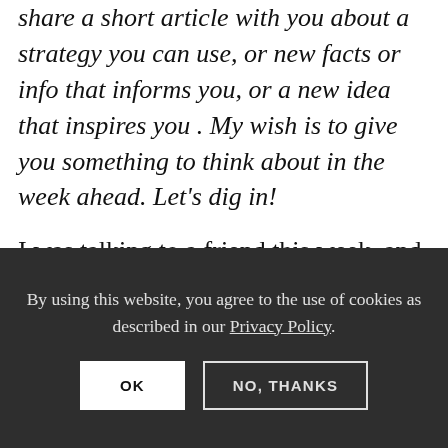share a short article with you about a strategy you can use, or new facts or info that informs you, or a new idea that inspires you . My wish is to give you something to think about in the week ahead. Let’s dig in!
I was talking to a friend this week, and we got off on the subject of needing deadlines to get motivated to get something done.
By using this website, you agree to the use of cookies as described in our Privacy Policy.
OK
NO, THANKS